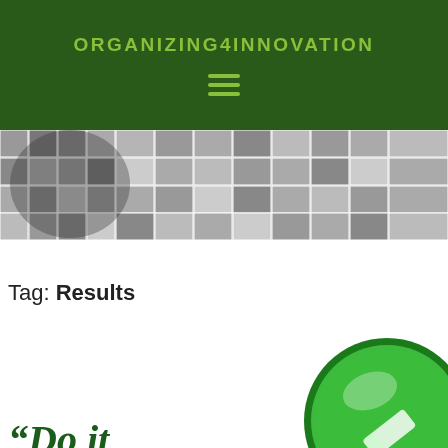ORGANIZING4INNOVATION
[Figure (photo): Mosaic of many small black-and-white portrait photos arranged to form a head/profile silhouette on the left, with a grid of individual portrait photos filling the rest of the strip.]
Tag: Results
“Do it
[Figure (illustration): Large glossy green circle/button with a white pencil or pen icon, partially visible at bottom right of the page.]